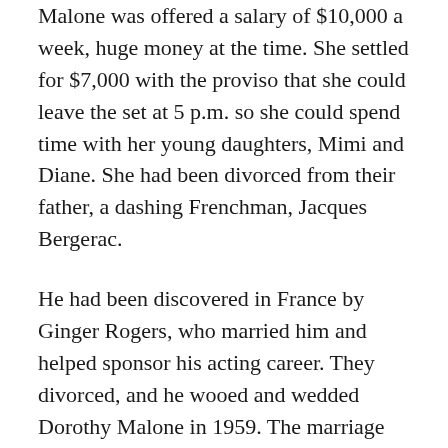Malone was offered a salary of $10,000 a week, huge money at the time. She settled for $7,000 with the proviso that she could leave the set at 5 p.m. so she could spend time with her young daughters, Mimi and Diane. She had been divorced from their father, a dashing Frenchman, Jacques Bergerac.
He had been discovered in France by Ginger Rogers, who married him and helped sponsor his acting career. They divorced, and he wooed and wedded Dorothy Malone in 1959. The marriage lasted five years and ended in a bitter court battle over custody of the daughters. “I wish Ginger had warned me what he was like,” she lamented.
Malone married three times — two and a half by her calculation. Her second marriage, to stock broker